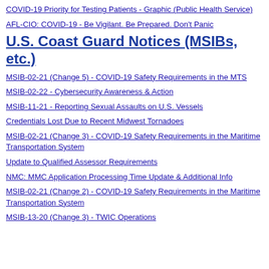COVID-19 Priority for Testing Patients - Graphic (Public Health Service)
AFL-CIO: COVID-19 - Be Vigilant. Be Prepared. Don't Panic
U.S. Coast Guard Notices (MSIBs, etc.)
MSIB-02-21 (Change 5) - COVID-19 Safety Requirements in the MTS
MSIB-02-22 - Cybersecurity Awareness & Action
MSIB-11-21 - Reporting Sexual Assaults on U.S. Vessels
Credentials Lost Due to Recent Midwest Tornadoes
MSIB-02-21 (Change 3) - COVID-19 Safety Requirements in the Maritime Transportation System
Update to Qualified Assessor Requirements
NMC: MMC Application Processing Time Update & Additional Info
MSIB-02-21 (Change 2) - COVID-19 Safety Requirements in the Maritime Transportation System
MSIB-13-20 (Change 3) - TWIC Operations